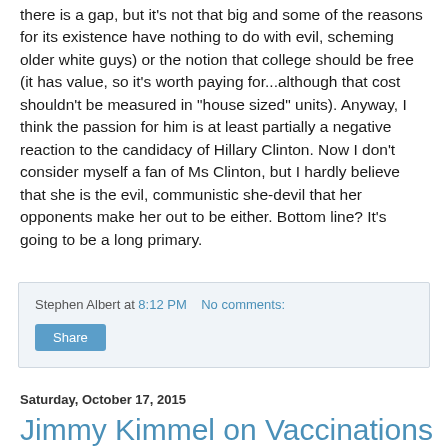there is a gap, but it's not that big and some of the reasons for its existence have nothing to do with evil, scheming older white guys) or the notion that college should be free (it has value, so it's worth paying for...although that cost shouldn't be measured in "house sized" units).  Anyway, I think the passion for him is at least partially a negative reaction to the candidacy of Hillary Clinton.  Now I don't consider myself a fan of Ms Clinton, but I hardly believe that she is the evil, communistic she-devil that her opponents make her out to be either.  Bottom line?  It's going to be a long primary.
Stephen Albert at 8:12 PM   No comments:
Share
Saturday, October 17, 2015
Jimmy Kimmel on Vaccinations